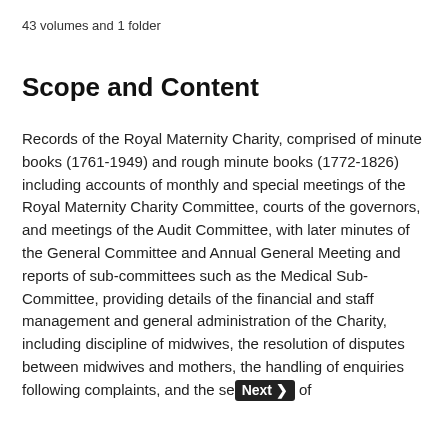43 volumes and 1 folder
Scope and Content
Records of the Royal Maternity Charity, comprised of minute books (1761-1949) and rough minute books (1772-1826) including accounts of monthly and special meetings of the Royal Maternity Charity Committee, courts of the governors, and meetings of the Audit Committee, with later minutes of the General Committee and Annual General Meeting and reports of sub-committees such as the Medical Sub-Committee, providing details of the financial and staff management and general administration of the Charity, including discipline of midwives, the resolution of disputes between midwives and mothers, the handling of enquiries following complaints, and the se[Next ›] of